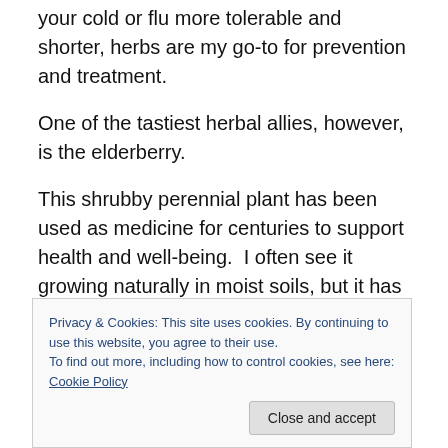your cold or flu more tolerable and shorter, herbs are my go-to for prevention and treatment.
One of the tastiest herbal allies, however, is the elderberry.
This shrubby perennial plant has been used as medicine for centuries to support health and well-being.  I often see it growing naturally in moist soils, but it has also historically been planted at the edge of gardens as the protector of the garden.  Even its name, Elder, speaks to its wise and respected role in our collective medicine chest.
Privacy & Cookies: This site uses cookies. By continuing to use this website, you agree to their use.
To find out more, including how to control cookies, see here: Cookie Policy
ingredient in many cold care tea formulas